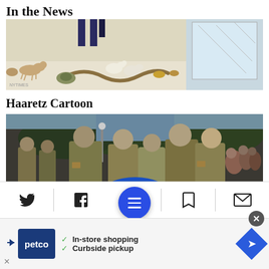In the News
[Figure (illustration): A cartoon illustration showing various animals including a dog, birds (geese/ducks), a snake, a turtle, and small animals near what appears to be a building entrance or door]
Haaretz Cartoon
[Figure (photo): A photograph of several soldiers in military camouflage uniforms gathered together, appearing to be folding or handling a flag (blue and yellow colors visible). A crowd and trees are visible in the background.]
[Figure (infographic): Mobile app toolbar with Twitter, Facebook, menu (hamburger button in blue circle), bookmark, and email icons at the bottom of the screen]
[Figure (infographic): Advertisement bar for Petco showing 'In-store shopping' and 'Curbside pickup' with checkmarks, Petco logo, and navigation arrow icon]